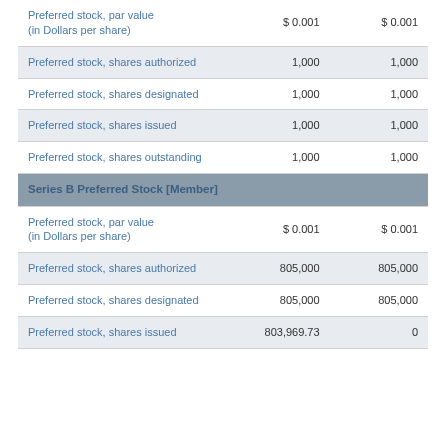|  | Col1 | Col2 |
| --- | --- | --- |
| Preferred stock, par value (in Dollars per share) | $ 0.001 | $ 0.001 |
| Preferred stock, shares authorized | 1,000 | 1,000 |
| Preferred stock, shares designated | 1,000 | 1,000 |
| Preferred stock, shares issued | 1,000 | 1,000 |
| Preferred stock, shares outstanding | 1,000 | 1,000 |
| Series B Preferred Stock [Member] |  |  |
| Preferred stock, par value (in Dollars per share) | $ 0.001 | $ 0.001 |
| Preferred stock, shares authorized | 805,000 | 805,000 |
| Preferred stock, shares designated | 805,000 | 805,000 |
| Preferred stock, shares issued | 803,969.73 | 0 |